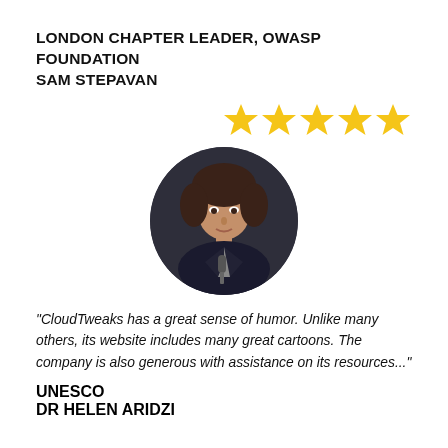LONDON CHAPTER LEADER, OWASP FOUNDATION
SAM STEPAVAN
[Figure (other): Five gold star rating icons in a row, right-aligned]
[Figure (photo): Circular portrait photo of Sam Stepavan, a woman holding a microphone, wearing a dark jacket, in a circular crop with dark background]
"CloudTweaks has a great sense of humor. Unlike many others, its website includes many great cartoons. The company is also generous with assistance on its resources..."
UNESCO
DR HELEN ARIDZI